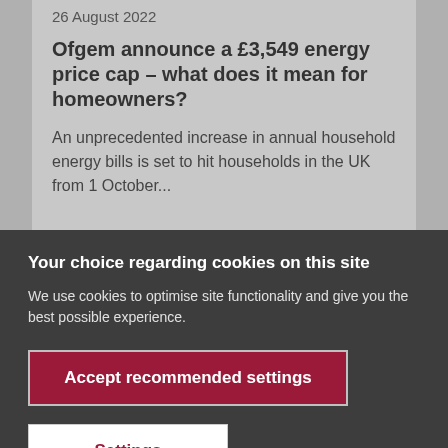26 August 2022
Ofgem announce a £3,549 energy price cap – what does it mean for homeowners?
An unprecedented increase in annual household energy bills is set to hit households in the UK from 1 October...
Your choice regarding cookies on this site
We use cookies to optimise site functionality and give you the best possible experience.
Accept recommended settings
Settings